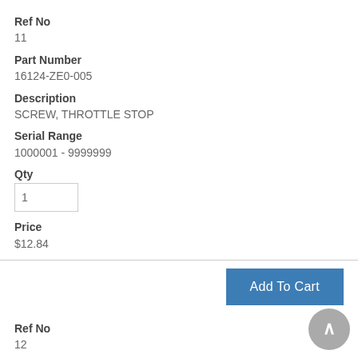Ref No
11
Part Number
16124-ZE0-005
Description
SCREW, THROTTLE STOP
Serial Range
1000001 - 9999999
Qty
1
Price
$12.84
Add To Cart
Ref No
12
Part Number
16166-ZE0-015
Description